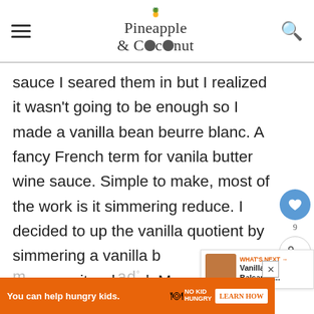Pineapple & Coconut
sauce I seared them in but I realized it wasn't going to be enough so I made a vanilla bean beurre blanc. A fancy French term for vanila butter wine sauce. Simple to make, most of the work is it simmering reduce. I decided to up the vanilla quotient by simmering a vanilla b[ean in] the sauce as it reduced. Man oh man did m[ake it smell am]az[ing]°
[Figure (infographic): Social sharing widget with heart/favorite button (blue circle, count 9) and share button]
[Figure (infographic): What's Next widget showing a food image thumbnail with text 'WHAT'S NEXT → Vanilla Balsamic...']
[Figure (infographic): Orange ad banner: 'You can help hungry kids.' No Kid Hungry logo and LEARN HOW button]